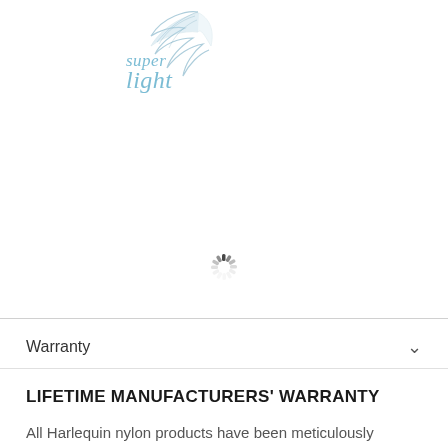[Figure (logo): Super light brand logo with feather illustration and italic text reading 'super light' in light blue]
[Figure (other): Loading spinner / activity indicator circle with dashes]
Warranty
LIFETIME MANUFACTURERS' WARRANTY
All Harlequin nylon products have been meticulously designed and manufactured to the highest industry standards.